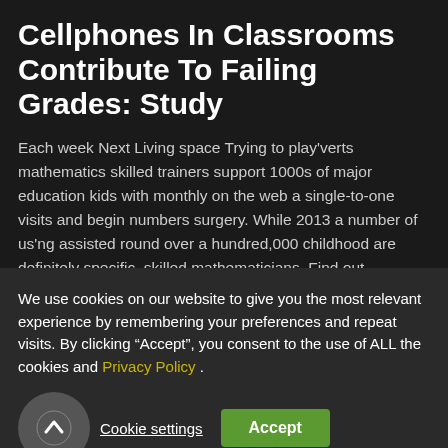Cellphones In Classrooms Contribute To Failing Grades: Study
Each week Next Living space Trying to play'verts mathematics skilled trainers support 1000s of major education kids with monthly on the web a single-to-one visits and begin numbers surgery. While 2013 a number of us'ng assisted round over a hundred,000 childhood are definitely specific, skilled mathematicians. Find out
We use cookies on our website to give you the most relevant experience by remembering your preferences and repeat visits. By clicking “Accept”, you consent to the use of ALL the cookies and Privacy Policy .